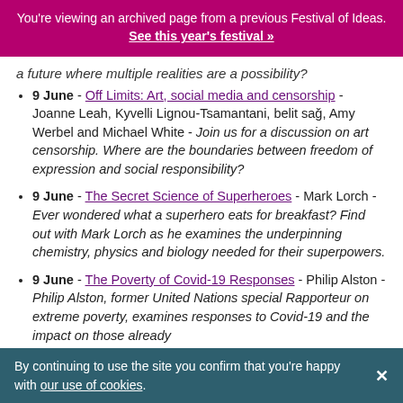You're viewing an archived page from a previous Festival of Ideas. See this year's festival »
a future where multiple realities are a possibility?
9 June - Off Limits: Art, social media and censorship - Joanne Leah, Kyvelli Lignou-Tsamantani, belit sağ, Amy Werbel and Michael White - Join us for a discussion on art censorship. Where are the boundaries between freedom of expression and social responsibility?
9 June - The Secret Science of Superheroes - Mark Lorch - Ever wondered what a superhero eats for breakfast? Find out with Mark Lorch as he examines the underpinning chemistry, physics and biology needed for their superpowers.
9 June - The Poverty of Covid-19 Responses - Philip Alston - Philip Alston, former United Nations special Rapporteur on extreme poverty, examines responses to Covid-19 and the impact on those already
By continuing to use the site you confirm that you're happy with our use of cookies.